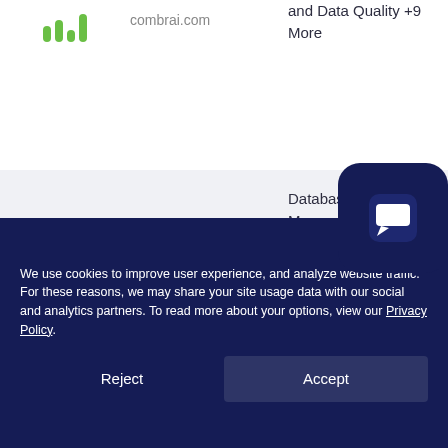combrai.com
and Data Quality +9 More
ConnectWise Automate
connectwise.com
Database Management, IT Asset Management, and IT Infrastructure Management +9 More
We use cookies to improve user experience, and analyze website traffic. For these reasons, we may share your site usage data with our social and analytics partners. To read more about your options, view our Privacy Policy.
Reject
Accept